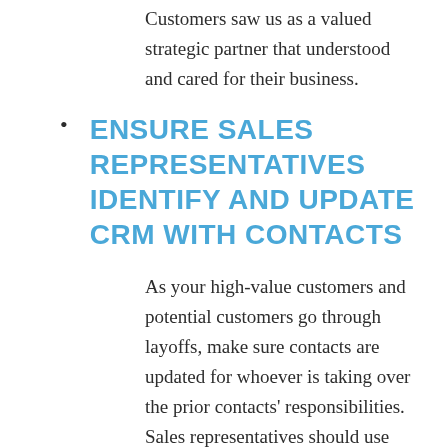Customers saw us as a valued strategic partner that understood and cared for their business.
ENSURE SALES REPRESENTATIVES IDENTIFY AND UPDATE CRM WITH CONTACTS
As your high-value customers and potential customers go through layoffs, make sure contacts are updated for whoever is taking over the prior contacts' responsibilities. Sales representatives should use this time to start building and nurturing relationships with the new contacts, updating them on your offerings and most importantly